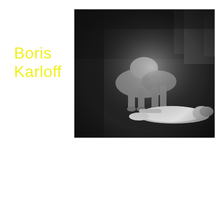Boris Karloff
[Figure (photo): Black and white photograph showing a large dog standing over a woman lying on the ground, dark background with other figures visible in the distance]